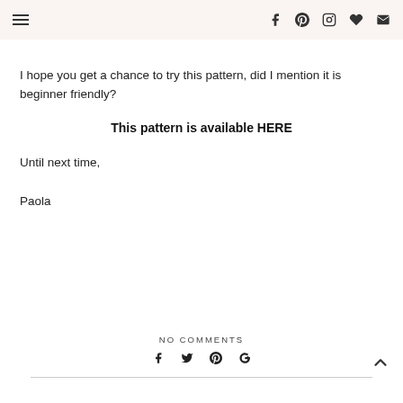Navigation and social icons header
I hope you get a chance to try this pattern, did I mention it is beginner friendly?
This pattern is available HERE
Until next time,

Paola
NO COMMENTS | social share icons | back to top